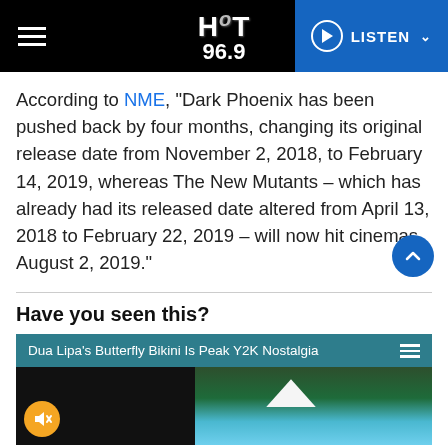HOT 96.9 — LISTEN
According to NME, “Dark Phoenix has been pushed back by four months, changing its original release date from November 2, 2018, to February 14, 2019, whereas The New Mutants – which has already had its released date altered from April 13, 2018 to February 22, 2019 – will now hit cinemas August 2, 2019.”
Have you seen this?
[Figure (screenshot): Video thumbnail card with teal title bar reading 'Dua Lipa's Butterfly Bikini Is Peak Y2K Nostalgia' with hamburger menu icon, below which is a dark video thumbnail split into two sections: left section dark with an orange muted speaker icon, right section showing a pool scene with trees and a white tent.]